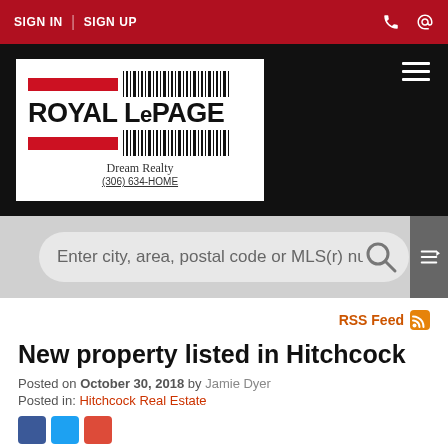SIGN IN | SIGN UP
[Figure (logo): Royal LePage Dream Realty logo with barcode design, red bars, and text '(306) 634-HOME']
Enter city, area, postal code or MLS(r) number
RSS Feed
New property listed in Hitchcock
Posted on October 30, 2018 by Jamie Dyer
Posted in: Hitchcock Real Estate